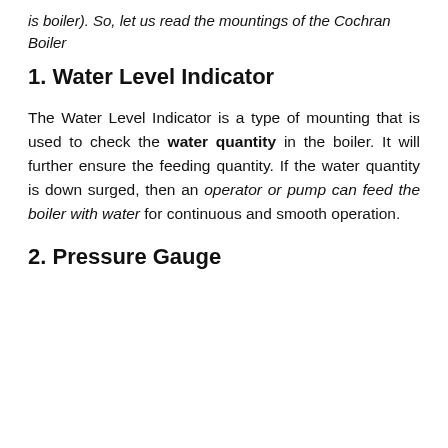is boiler). So, let us read the mountings of the Cochran Boiler
1. Water Level Indicator
The Water Level Indicator is a type of mounting that is used to check the water quantity in the boiler. It will further ensure the feeding quantity. If the water quantity is down surged, then an operator or pump can feed the boiler with water for continuous and smooth operation.
2. Pressure Gauge